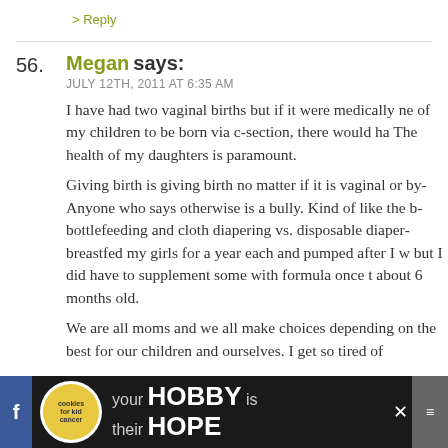> Reply
56. Megan says: JULY 12TH, 2011 AT 6:35 AM
I have had two vaginal births but if it were medically ne... of my children to be born via c-section, there would ha... The health of my daughters is paramount.

Giving birth is giving birth no matter if it is vaginal or by... Anyone who says otherwise is a bully. Kind of like the b... bottlefeeding and cloth diapering vs. disposable diaper... breastfed my girls for a year each and pumped after I w... but I did have to supplement some with formula once t... about 6 months old.

We are all moms and we all make choices depending on... the best for our children and ourselves. I get so tired of
> Reply
57. Kate says: